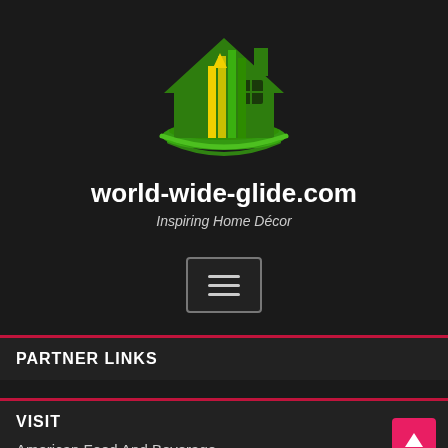[Figure (logo): House logo with green and yellow vertical bars forming a house shape with a green swoosh underneath]
world-wide-glide.com
Inspiring Home Décor
[Figure (other): Hamburger menu button icon with three horizontal lines]
PARTNER LINKS
VISIT
American Food And Beverage